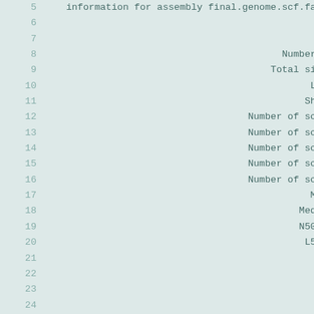Code block showing genome assembly statistics output, lines 5-25. Line 5: information for assembly final.genome.scf.fasta. Lines 6-7: blank. Line 8: Number of... Line 9: Total size o... Line 10: Longe... Line 11: Shorte... Line 12: Number of scaffo... Line 13: Number of scaffol... Line 14: Number of scaffolc... Line 15: Number of scaffo... Line 16: Number of scaffol... Line 17: Mean sc... Line 18: Median sc... Line 19: N50 scaf... Line 20: L50 sca... Lines 21-25: blank.